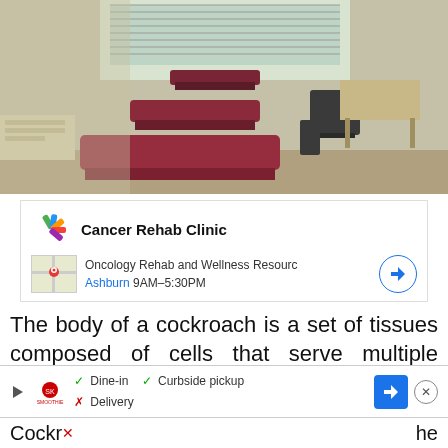[Figure (photo): Interior of a cancer rehab clinic showing multiple dark red/maroon padded treatment tables arranged in rows, with chairs and medical equipment visible in the background, lit by natural light from windows.]
Cancer Rehab Clinic
Oncology Rehab and Wellness Resourc
Ashburn 9AM–5:30PM
The body of a cockroach is a set of tissues composed of cells that serve multiple purposes in the cockroachs' day-to-day life. Their bodies are designed to store nutrients as well as metabolize them.
✓ Dine-in ✓ Curbside pickup
✗ Delivery
Cockr…he